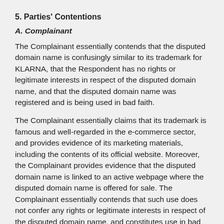5. Parties' Contentions
A. Complainant
The Complainant essentially contends that the disputed domain name is confusingly similar to its trademark for KLARNA, that the Respondent has no rights or legitimate interests in respect of the disputed domain name, and that the disputed domain name was registered and is being used in bad faith.
The Complainant essentially claims that its trademark is famous and well-regarded in the e-commerce sector, and provides evidence of its marketing materials, including the contents of its official website. Moreover, the Complainant provides evidence that the disputed domain name is linked to an active webpage where the disputed domain name is offered for sale. The Complainant essentially contends that such use does not confer any rights or legitimate interests in respect of the disputed domain name, and constitutes use in bad faith. The Complainant also